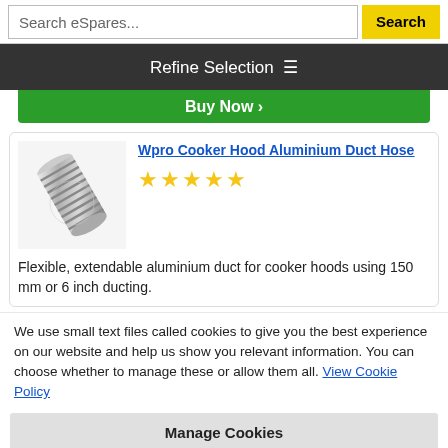Search eSpares... Search
Refine Selection ≡
Buy Now →
[Figure (photo): Photo of Wpro Cooker Hood Aluminium Duct Hose – a flexible silver metallic corrugated tube]
Wpro Cooker Hood Aluminium Duct Hose
★★★★★ (5 stars)
Flexible, extendable aluminium duct for cooker hoods using 150 mm or 6 inch ducting.
We use small text files called cookies to give you the best experience on our website and help us show you relevant information. You can choose whether to manage these or allow them all. View Cookie Policy
Manage Cookies
Allow All